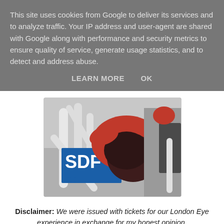This site uses cookies from Google to deliver its services and to analyze traffic. Your IP address and user-agent are shared with Google along with performance and security metrics to ensure quality of service, generate usage statistics, and to detect and address abuse. LEARN MORE   OK
[Figure (photo): A child in a red jacket viewed from above, leaning over white structural elements with blue HSBC-like branding visible, inside what appears to be a London Eye pod.]
Disclaimer: We were issued with tickets for our London Eye experience in exchange for my honest opinion.